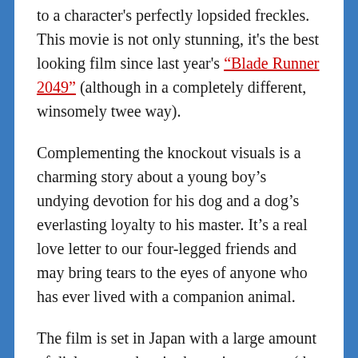to a character's perfectly lopsided freckles. This movie is not only stunning, it's the best looking film since last year's “Blade Runner 2049” (although in a completely different, winsomely twee way).
Complementing the knockout visuals is a charming story about a young boy’s undying devotion for his dog and a dog’s everlasting loyalty to his master. It’s a real love letter to our four-legged friends and may bring tears to the eyes of anyone who has ever lived with a companion animal.
The film is set in Japan with a large amount of dialogue spoken in the native tongue (the barks from the dogs, a title card teases, have been